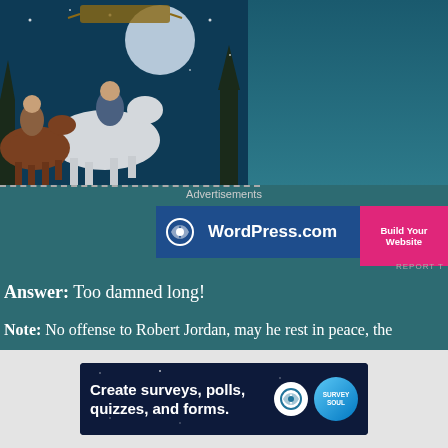[Figure (illustration): Fantasy book cover art showing knights on horseback (one on white horse, one on brown horse) against a night sky with moon, in a painted style]
Advertisements
[Figure (screenshot): WordPress.com advertisement banner with blue background, WordPress logo, text 'WordPress.com' and pink 'Build Your Website' button]
REPORT T
Answer:  Too damned long!
Note:  No offense to Robert Jordan, may he rest in peace, the se have probably ended after eight or ten novels.  I really enjoyed books!  And all of your Conan novels were great, too!
[Figure (screenshot): Advertisement banner: 'Create surveys, polls, quizzes, and forms.' with WordPress logo and circular survey logo on dark blue starry background]